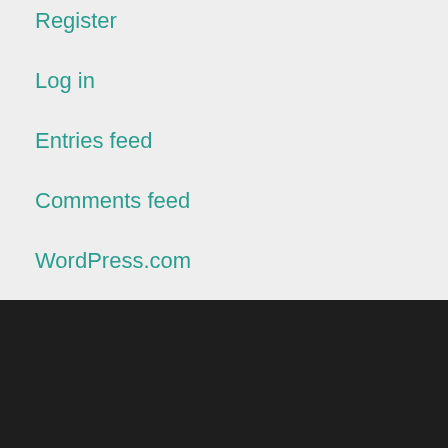Register
Log in
Entries feed
Comments feed
WordPress.com
COMMON TAGS
#Christmas #Courage #creation #justice
#lectionprayer #lookinlent #peace #pride #truth